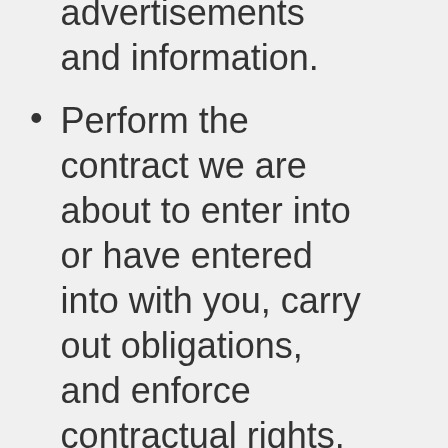advertisements and information.
Perform the contract we are about to enter into or have entered into with you, carry out obligations, and enforce contractual rights.
Improve the Services, such as